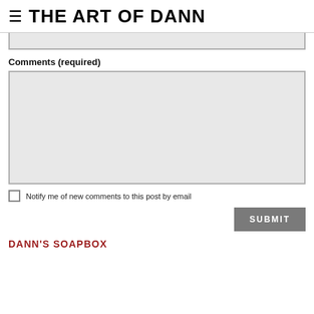THE ART OF DANN
[Figure (screenshot): Text input field (top, partially visible, light gray background)]
Comments (required)
[Figure (screenshot): Large comment text area input box (light gray background)]
Notify me of new comments to this post by email
SUBMIT
DANN'S SOAPBOX